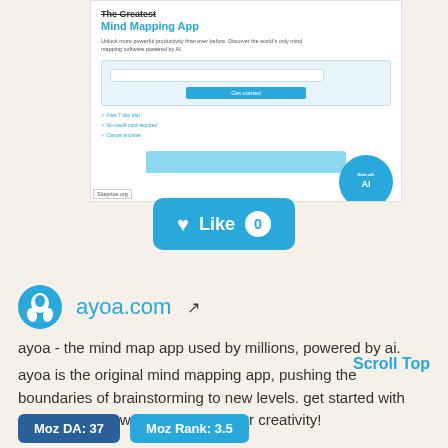[Figure (screenshot): Screenshot of ayoa.com website showing 'The Greatest Mind Mapping App' heading, email signup form with 'Get started' button, and checkmarks for Free 7 day trial, No credit card required, Cancel anytime. Siteprice.org watermark visible. AI badge in corner.]
[Figure (other): Blue rounded rectangle Like button with heart icon, 'Like' text, and count of 0]
ayoa.com
ayoa - the mind map app used by millions, powered by ai.
Scroll Top
ayoa is the original mind mapping app, pushing the boundaries of brainstorming to new levels. get started with ayoa and its powerful ai to fuel your creativity!
Moz DA: 37
Moz Rank: 3.5